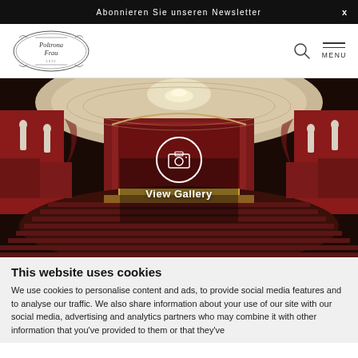Abonnieren Sie unseren Newsletter   x
[Figure (logo): Poltrona Frau ornate oval logo with brand name]
[Figure (photo): Interior of a grand concert hall/theatre with red velvet seats, ornate white ceiling with chandelier, stage with red curtain, white classical statues. Overlay shows camera icon and 'View Gallery' text.]
This website uses cookies
We use cookies to personalise content and ads, to provide social media features and to analyse our traffic. We also share information about your use of our site with our social media, advertising and analytics partners who may combine it with other information that you've provided to them or that they've